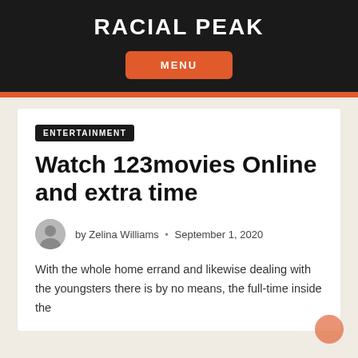RACIAL PEAK
MENU
ENTERTAINMENT
Watch 123movies Online and extra time
by Zelina Williams • September 1, 2020
With the whole home errand and likewise dealing with the youngsters there is by no means, the full-time inside the